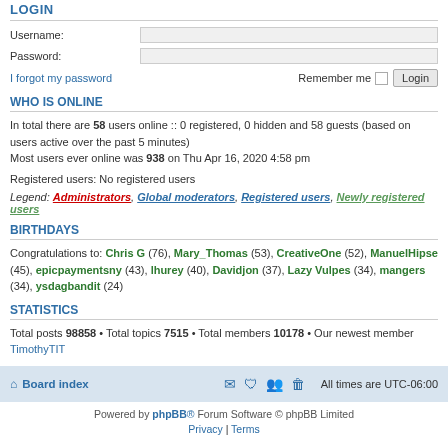LOGIN
Username:
Password:
I forgot my password | Remember me | Login
WHO IS ONLINE
In total there are 58 users online :: 0 registered, 0 hidden and 58 guests (based on users active over the past 5 minutes)
Most users ever online was 938 on Thu Apr 16, 2020 4:58 pm
Registered users: No registered users
Legend: Administrators, Global moderators, Registered users, Newly registered users
BIRTHDAYS
Congratulations to: Chris G (76), Mary_Thomas (53), CreativeOne (52), ManuelHipse (45), epicpaymentsny (43), lhurey (40), Davidjon (37), Lazy Vulpes (34), mangers (34), ysdagbandit (24)
STATISTICS
Total posts 98858 • Total topics 7515 • Total members 10178 • Our newest member TimothyTIT
Board index | All times are UTC-06:00
Powered by phpBB® Forum Software © phpBB Limited
Privacy | Terms